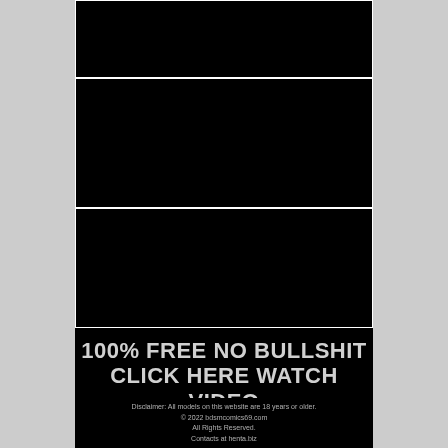[Figure (illustration): Three black panels stacked vertically with white borders on a black background, representing comic/manga page panels with no visible content]
100% FREE NO BULLSHIT CLICK HERE WATCH VIDEO
Disclaimer: All models on this website are 18 years or older. © 2022 bdsmcomics69.com All Rights Reserved. Contacts at henta.biz